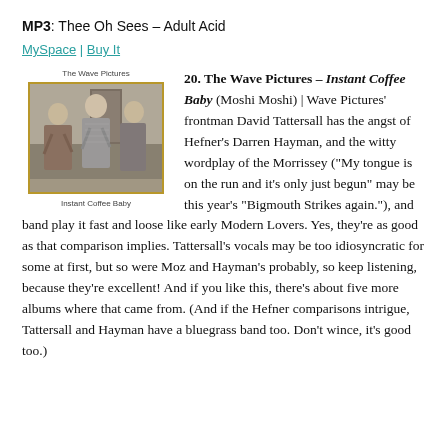MP3: Thee Oh Sees – Adult Acid
MySpace | Buy It
[Figure (photo): Black and white album cover photo of The Wave Pictures band members, with 'The Wave Pictures' text above and 'Instant Coffee Baby' caption below]
20. The Wave Pictures – Instant Coffee Baby (Moshi Moshi) | Wave Pictures' frontman David Tattersall has the angst of Hefner's Darren Hayman, and the witty wordplay of the Morrissey ("My tongue is on the run and it's only just begun" may be this year's "Bigmouth Strikes again."), and band play it fast and loose like early Modern Lovers. Yes, they're as good as that comparison implies. Tattersall's vocals may be too idiosyncratic for some at first, but so were Moz and Hayman's probably, so keep listening, because they're excellent! And if you like this, there's about five more albums where that came from. (And if the Hefner comparisons intrigue, Tattersall and Hayman have a bluegrass band too. Don't wince, it's good too.)